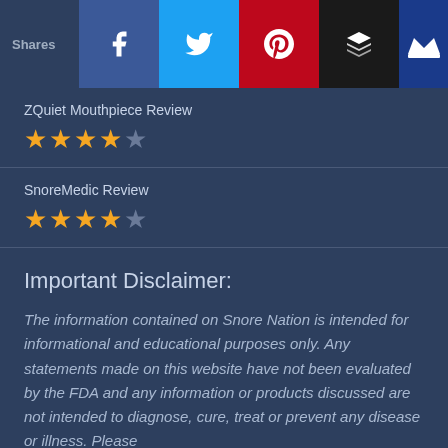[Figure (infographic): Social share bar with Shares label, Facebook (blue), Twitter (light blue), Pinterest (red), Buffer (dark/black), and Crowdfire (dark blue) buttons with white icons]
ZQuiet Mouthpiece Review ★★★★☆
SnoreMedic Review ★★★★☆
Important Disclaimer:
The information contained on Snore Nation is intended for informational and educational purposes only. Any statements made on this website have not been evaluated by the FDA and any information or products discussed are not intended to diagnose, cure, treat or prevent any disease or illness. Please